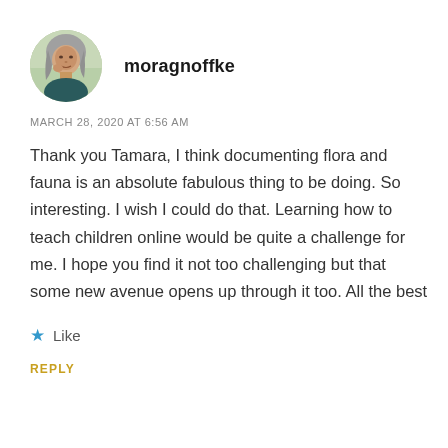[Figure (photo): Circular avatar photo of a woman with gray hair, outdoors background]
moragnoffke
MARCH 28, 2020 AT 6:56 AM
Thank you Tamara, I think documenting flora and fauna is an absolute fabulous thing to be doing. So interesting. I wish I could do that. Learning how to teach children online would be quite a challenge for me. I hope you find it not too challenging but that some new avenue opens up through it too. All the best
★ Like
REPLY